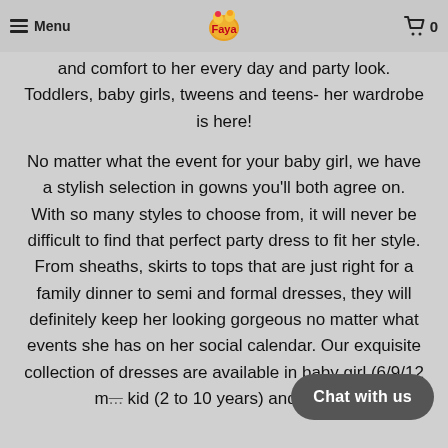Menu | [Logo] | Cart 0
and comfort to her every day and party look. Toddlers, baby girls, tweens and teens- her wardrobe is here!
No matter what the event for your baby girl, we have a stylish selection in gowns you'll both agree on. With so many styles to choose from, it will never be difficult to find that perfect party dress to fit her style. From sheaths, skirts to tops that are just right for a family dinner to semi and formal dresses, they will definitely keep her looking gorgeous no matter what events she has on her social calendar. Our exquisite collection of dresses are available in baby girl (6/9/12 m...) kid (2 to 10 years) and teenage...